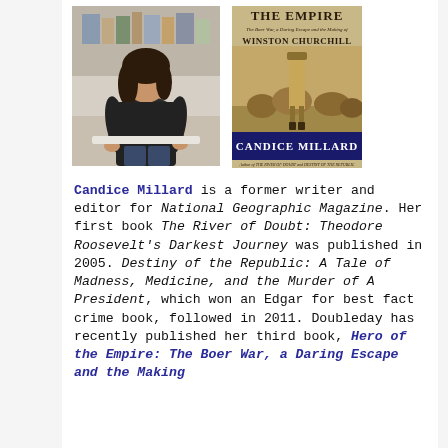[Figure (photo): Author photo of Candice Millard sitting in a studio/office setting, wearing dark clothing, with long dark hair]
[Figure (photo): Book cover of 'Hero of the Empire: The Boer War, a Daring Escape and the Making of Winston Churchill' by Candice Millard]
Candice Millard is a former writer and editor for National Geographic Magazine. Her first book The River of Doubt: Theodore Roosevelt's Darkest Journey was published in 2005. Destiny of the Republic: A Tale of Madness, Medicine, and the Murder of A President, which won an Edgar for best fact crime book, followed in 2011. Doubleday has recently published her third book, Hero of the Empire: The Boer War, a Daring Escape and the Making